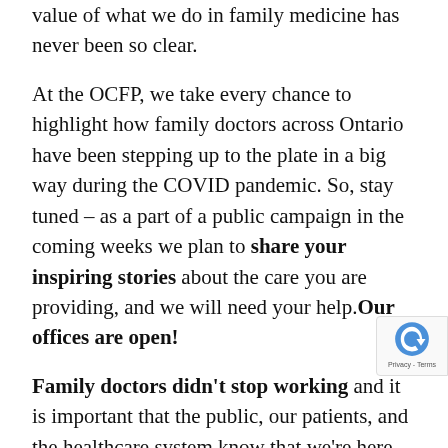value of what we do in family medicine has never been so clear.
At the OCFP, we take every chance to highlight how family doctors across Ontario have been stepping up to the plate in a big way during the COVID pandemic. So, stay tuned – as a part of a public campaign in the coming weeks we plan to share your inspiring stories about the care you are providing, and we will need your help. Our offices are open!
Family doctors didn't stop working and it is important that the public, our patients, and the healthcare system know that we're here providing care – by phone, video, email or in person! One of our colleagues said it best: "I may be working